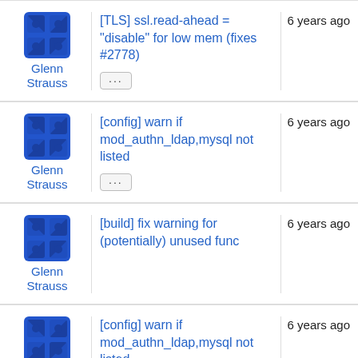Glenn Strauss | [TLS] ssl.read-ahead = "disable" for low mem (fixes #2778) | 6 years ago
Glenn Strauss | [config] warn if mod_authn_ldap,mysql not listed | 6 years ago
Glenn Strauss | [build] fix warning for (potentially) unused func | 6 years ago
Glenn Strauss | [config] warn if mod_authn_ldap,mysql not listed | 6 years ago
Glenn Strauss | silence warnings from clang ccc-analyzer | 6 years ago